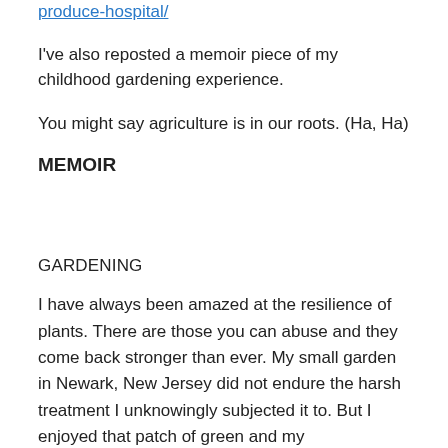produce-hospital/
I've also reposted a memoir piece of my childhood gardening experience.
You might say agriculture is in our roots. (Ha, Ha)
MEMOIR
GARDENING
I have always been amazed at the resilience of plants. There are those you can abuse and they come back stronger than ever. My small garden in Newark, New Jersey did not endure the harsh treatment I unknowingly subjected it to. But I enjoyed that patch of green and my